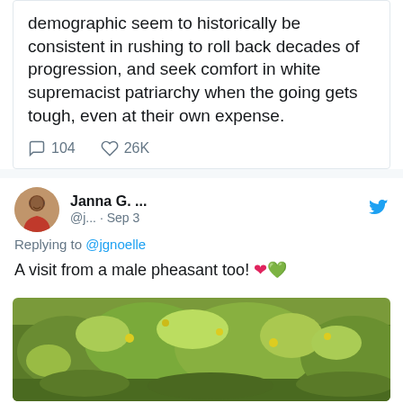demographic seem to historically be consistent in rushing to roll back decades of progression, and seek comfort in white supremacist patriarchy when the going gets tough, even at their own expense.
104 comments · 26K likes
Janna G. ... @j... · Sep 3
Replying to @jgnoelle
A visit from a male pheasant too! ❤️💚
[Figure (photo): Photo of green outdoor vegetation/bushes, yellow-green foliage in natural setting]